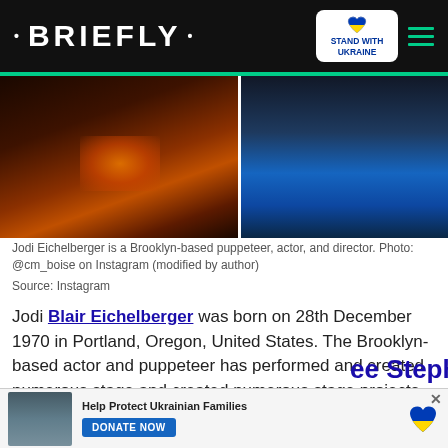• BRIEFLY •
[Figure (photo): Two side-by-side photos: left shows a person in dark lighting with reddish-orange glow; right shows a man in a blue shirt against dark background.]
Jodi Eichelberger is a Brooklyn-based puppeteer, actor, and director. Photo: @cm_boise on Instagram (modified by author)
Source: Instagram
Jodi Blair Eichelberger was born on 28th December 1970 in Portland, Oregon, United States. The Brooklyn-based actor and puppeteer has performed and created numerous stage projects like the Avenue Q and The Adventures of Elmo in
[Figure (screenshot): Video overlay with purple circle label 'CALLED HIS EX BEFORE THE PROPOSAL', play button, and a man in a suit in background. Red scroll-down button visible.]
ee Stephanie
[Figure (photo): Bottom advertisement image showing people in winter scene.]
Help Protect Ukrainian Families
DONATE NOW